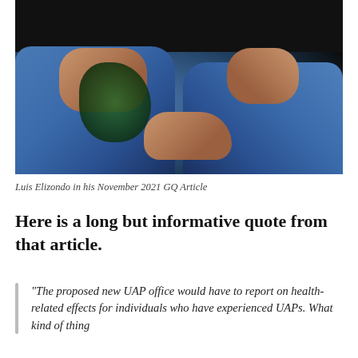[Figure (photo): Luis Elizondo seated, wearing dark shirt and jeans, with tattoos visible on both forearms, hands clasped together. Dark background.]
Luis Elizondo in his November 2021 GQ Article
Here is a long but informative quote from that article.
“The proposed new UAP office would have to report on health-related effects for individuals who have experienced UAPs. What kind of thing